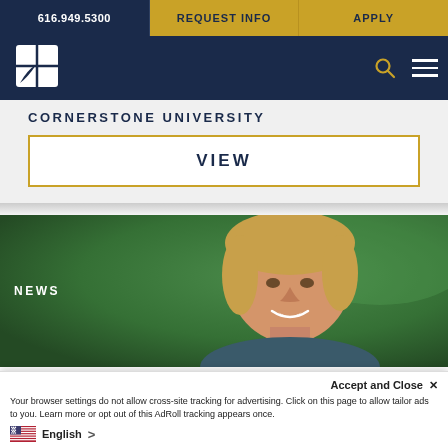616.949.5300 | REQUEST INFO | APPLY
[Figure (logo): Cornerstone University logo - white diamond/square with cross division and leaf element on dark navy background]
CORNERSTONE UNIVERSITY
VIEW
[Figure (photo): Photo of smiling woman with short blonde hair against green background, with NEWS label overlay]
Accept and Close ✕
Your browser settings do not allow cross-site tracking for advertising. Click on this page to allow tailor ads to you. Learn more or opt out of this AdRoll tracking appears once.
English >